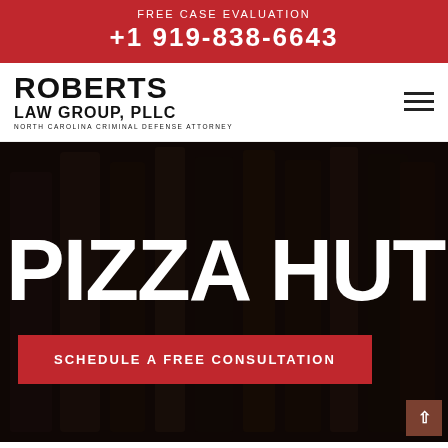FREE CASE EVALUATION +1 919-838-6643
[Figure (logo): Roberts Law Group, PLLC logo - North Carolina Criminal Defense Attorney]
PIZZA HUT
SCHEDULE A FREE CONSULTATION